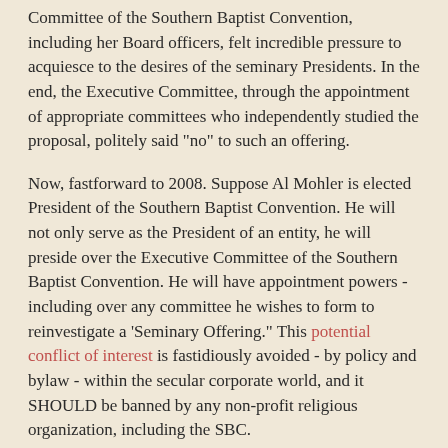Committee of the Southern Baptist Convention, including her Board officers, felt incredible pressure to acquiesce to the desires of the seminary Presidents. In the end, the Executive Committee, through the appointment of appropriate committees who independently studied the proposal, politely said "no" to such an offering.
Now, fastforward to 2008. Suppose Al Mohler is elected President of the Southern Baptist Convention. He will not only serve as the President of an entity, he will preside over the Executive Committee of the Southern Baptist Convention. He will have appointment powers - including over any committee he wishes to form to reinvestigate a 'Seminary Offering." This potential conflict of interest is fastidiously avoided - by policy and bylaw - within the secular corporate world, and it SHOULD be banned by any non-profit religious organization, including the SBC.
One of the reasons that the Southern Baptist Convention in 2008 seems to be controlled by the top down, instead of the tried and true historic Baptist grassroots level of governance, is because too many Southern Baptist leaders in the past